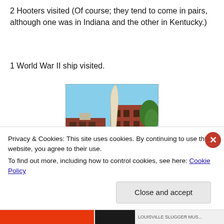2 Hooters visited (Of course; they tend to come in pairs, although one was in Indiana and the other in Kentucky.)
1 World War II ship visited.
[Figure (photo): Exterior photo of a red brick building (Louisville Slugger Museum) with a large baseball bat leaning against it, blue sky in background, green tree to the right.]
Privacy & Cookies: This site uses cookies. By continuing to use this website, you agree to their use.
To find out more, including how to control cookies, see here: Cookie Policy